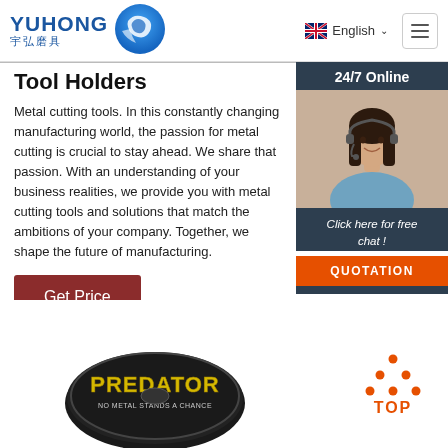YUHONG 宇弘磨具 — English navigation bar with hamburger menu
Tool Holders
Metal cutting tools. In this constantly changing manufacturing world, the passion for metal cutting is crucial to stay ahead. We share that passion. With an understanding of your business realities, we provide you with metal cutting tools and solutions that match the ambitions of your company. Together, we shape the future of manufacturing.
[Figure (photo): 24/7 Online customer service representative widget with woman wearing headset, with 'Click here for free chat!' text and QUOTATION button]
Get Price
[Figure (logo): Predator brand circular logo/disc with text 'PREDATOR' and 'NO METAL STANDS A CHANCE']
[Figure (other): TOP button with orange dots forming triangle icon above orange TOP text]